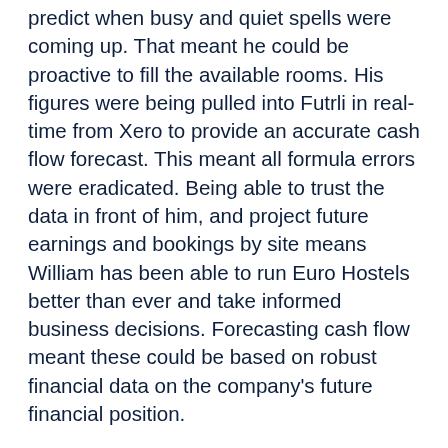predict when busy and quiet spells were coming up. That meant he could be proactive to fill the available rooms. His figures were being pulled into Futrli in real-time from Xero to provide an accurate cash flow forecast. This meant all formula errors were eradicated. Being able to trust the data in front of him, and project future earnings and bookings by site means William has been able to run Euro Hostels better than ever and take informed business decisions. Forecasting cash flow meant these could be based on robust financial data on the company's future financial position.
Results - financial forecasting gives a better idea of the company's